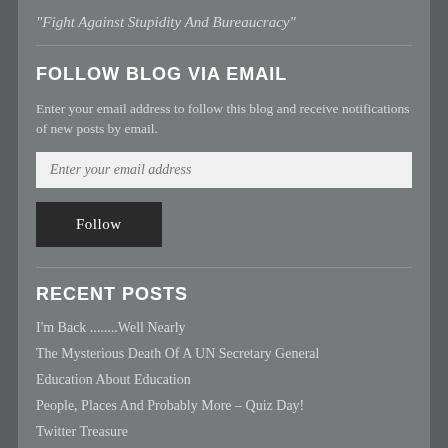"Fight Against Stupidity And Bureaucracy"
FOLLOW BLOG VIA EMAIL
Enter your email address to follow this blog and receive notifications of new posts by email.
Enter your email address
Follow
RECENT POSTS
I'm Back ........Well Nearly
The Mysterious Death Of A UN Secretary General
Education About Education
People, Places And Probably More – Quiz Day!
Twitter Treasure
I've Heard Of A Plane Going Missing – But An Entire